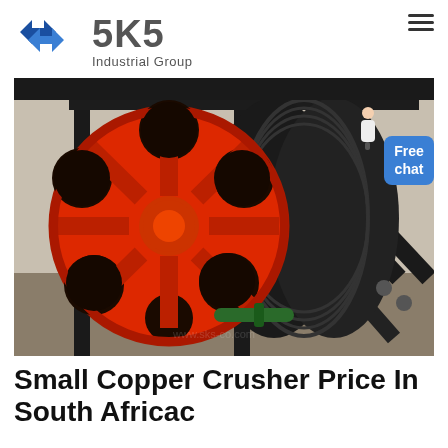[Figure (logo): SKS Industrial Group logo with blue diamond S icon and grey text]
[Figure (photo): Close-up photograph of an industrial jaw crusher showing a large red flywheel/pulley with holes and black belt-drive mechanism mounted on a black steel frame]
Small Copper Crusher Price In South Africac